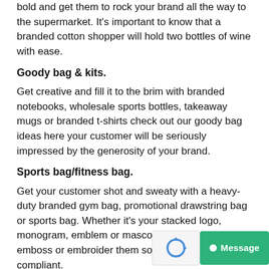bold and get them to rock your brand all the way to the supermarket. It's important to know that a branded cotton shopper will hold two bottles of wine with ease.
Goody bag & kits.
Get creative and fill it to the brim with branded notebooks, wholesale sports bottles, takeaway mugs or branded t-shirts check out our goody bag ideas here your customer will be seriously impressed by the generosity of your brand.
Sports bag/fitness bag.
Get your customer shot and sweaty with a heavy-duty branded gym bag, promotional drawstring bag or sports bag. Whether it's your stacked logo, monogram, emblem or mascot we can print, emboss or embroider them so they are brand compliant.
Open day eye candy.
Make sure your brand is on full show and help yo...